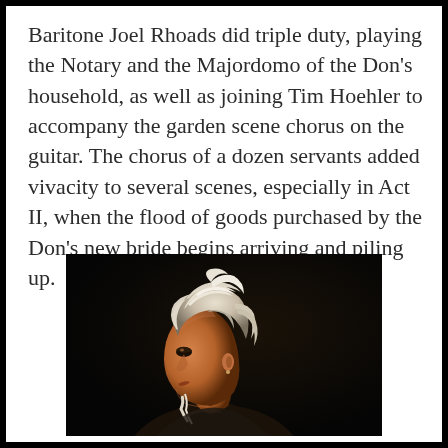Baritone Joel Rhoads did triple duty, playing the Notary and the Majordomo of the Don's household, as well as joining Tim Hoehler to accompany the garden scene chorus on the guitar. The chorus of a dozen servants added vivacity to several scenes, especially in Act II, when the flood of goods purchased by the Don's new bride begins arriving and piling up.
[Figure (photo): A woman in profile view facing left, wearing an elaborate white/cream ruffled period costume head covering, photographed against a dark background with dramatic side lighting illuminating her face.]